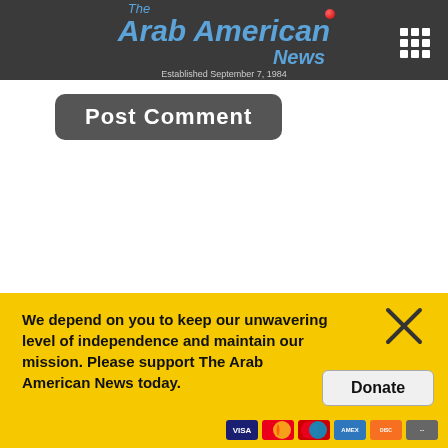The Arab American News — Established September 7, 1984
Post Comment
FLASH NEWSPAPER
[Figure (screenshot): Newspaper front page preview showing headlines 'Children of Gaza, run to the angels' and 'Middle East indeed' with a black and white photograph]
We depend on you to keep our unwavering level of independence and maintain our mission. Please support The Arab American News today.